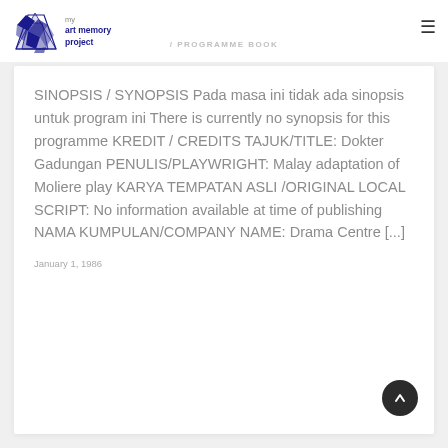my art memory project
ngan (1986)
/ PROGRAMME BOOK
SINOPSIS / SYNOPSIS Pada masa ini tidak ada sinopsis untuk program ini There is currently no synopsis for this programme KREDIT / CREDITS TAJUK/TITLE: Dokter Gadungan PENULIS/PLAYWRIGHT: Malay adaptation of Moliere play KARYA TEMPATAN ASLI /ORIGINAL LOCAL SCRIPT: No information available at time of publishing NAMA KUMPULAN/COMPANY NAME: Drama Centre [...]
January 1, 1986